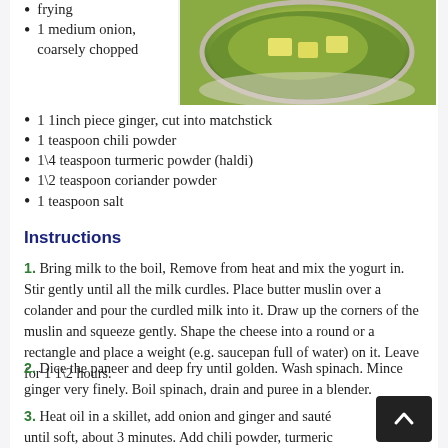[Figure (photo): Photo of a bowl containing paneer (Indian cheese) in a green spinach-based curry sauce, viewed from above, placed on a light surface.]
frying
1 medium onion, coarsely chopped
1 1inch piece ginger, cut into matchstick
1 teaspoon chili powder
1\4 teaspoon turmeric powder (haldi)
1\2 teaspoon coriander powder
1 teaspoon salt
Instructions
1. Bring milk to the boil, Remove from heat and mix the yogurt in. Stir gently until all the milk curdles. Place butter muslin over a colander and pour the curdled milk into it. Draw up the corners of the muslin and squeeze gently. Shape the cheese into a round or a rectangle and place a weight (e.g. saucepan full of water) on it. Leave for 1 1\2 hours.
2. Dice the paneer and deep fry until golden. Wash spinach. Mince ginger very finely. Boil spinach, drain and puree in a blender.
3. Heat oil in a skillet, add onion and ginger and sauté until soft, about 3 minutes. Add chili powder, turmeric powder, coriander powder and salt to onion mixture. Stir once or twice, add spinach